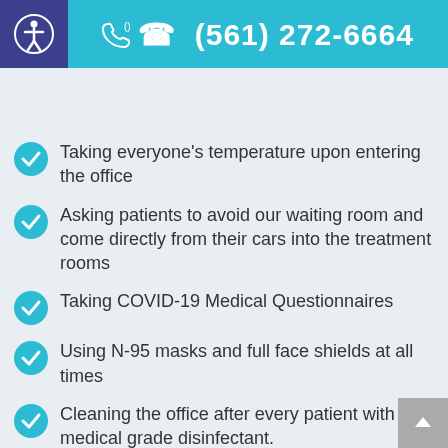(561) 272-6664
Delray Dental
Ritota & Ritota, P.A.
Taking everyone's temperature upon entering the office
Asking patients to avoid our waiting room and come directly from their cars into the treatment rooms
Taking COVID-19 Medical Questionnaires
Using N-95 masks and full face shields at all times
Cleaning the office after every patient with medical grade disinfectant.